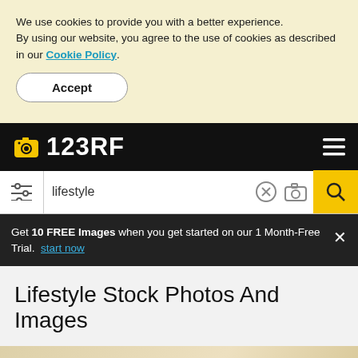We use cookies to provide you with a better experience. By using our website, you agree to the use of cookies as described in our Cookie Policy.
Accept
123RF
lifestyle
Get 10 FREE Images when you get started on our 1 Month-Free Trial. start now
Lifestyle Stock Photos And Images
[Figure (photo): Partial thumbnail image preview with beige/tan background]